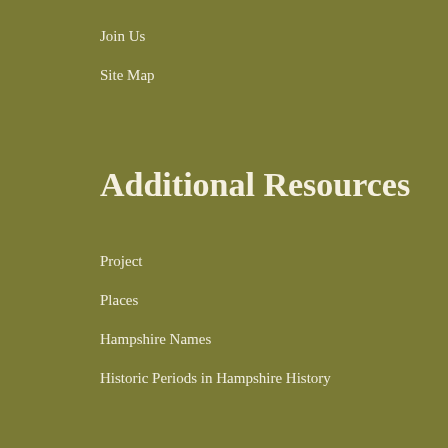Join Us
Site Map
Additional Resources
Project
Places
Hampshire Names
Historic Periods in Hampshire History
About Us
FAQ
Privacy policy
Terms and conditions